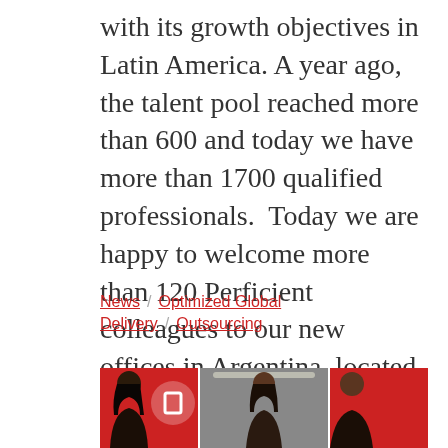with its growth objectives in Latin America. A year ago, the talent pool reached more than 600 and today we have more than 1700 qualified professionals.  Today we are happy to welcome more than 120 Perficient colleagues to our new offices in Argentina, located in the Palermo neighborhood of Buenos [...]
News / Optimized Global Delivery / Outsourcing
[Figure (photo): Three-panel photo showing three people in what appears to be a Perficient office with red branded background. Left panel shows a woman with dark hair, middle panel shows a woman facing camera in an office setting, right panel shows a man partially visible on the right side.]